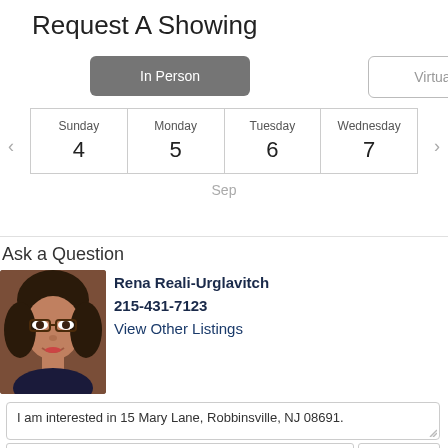Request A Showing
In Person
Virtual NEW
[Figure (other): Date picker calendar row showing Sunday 4, Monday 5, Tuesday 6, Wednesday 7 for September with left/right navigation arrows and Sep label below]
Ask a Question
[Figure (photo): Photo of Rena Reali-Urglavitch, a woman with dark hair and glasses]
Rena Reali-Urglavitch
215-431-7123
View Other Listings
I am interested in 15 Mary Lane, Robbinsville, NJ 08691.